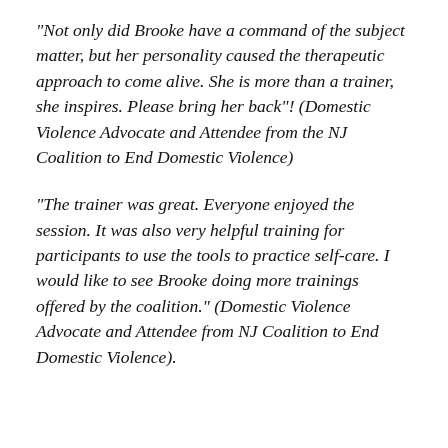“Not only did Brooke have a command of the subject matter, but her personality caused the therapeutic approach to come alive. She is more than a trainer, she inspires. Please bring her back”! (Domestic Violence Advocate and Attendee from the NJ Coalition to End Domestic Violence)
“The trainer was great. Everyone enjoyed the session. It was also very helpful training for participants to use the tools to practice self-care. I would like to see Brooke doing more trainings offered by the coalition.” (Domestic Violence Advocate and Attendee from NJ Coalition to End Domestic Violence).